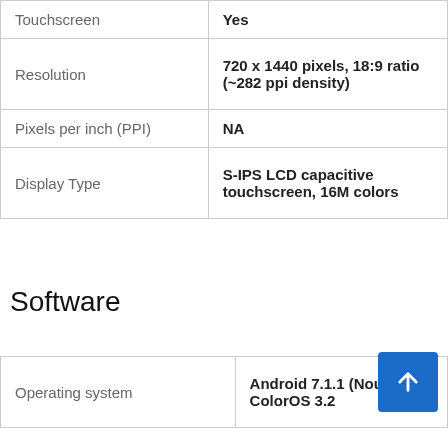| Feature | Value |
| --- | --- |
| Touchscreen | Yes |
| Resolution | 720 x 1440 pixels, 18:9 ratio (~282 ppi density) |
| Pixels per inch (PPI) | NA |
| Display Type | S-IPS LCD capacitive touchscreen, 16M colors |
Software
| Feature | Value |
| --- | --- |
| Operating system | Android 7.1.1 (Nougat), ColorOS 3.2 |